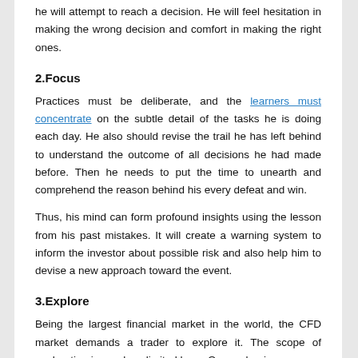he will attempt to reach a decision. He will feel hesitation in making the wrong decision and comfort in making the right ones.
2.Focus
Practices must be deliberate, and the learners must concentrate on the subtle detail of the tasks he is doing each day. He also should revise the trail he has left behind to understand the outcome of all decisions he had made before. Then he needs to put the time to unearth and comprehend the reason behind his every defeat and win.
Thus, his mind can form profound insights using the lesson from his past mistakes. It will create a warning system to inform the investor about possible risk and also help him to devise a new approach toward the event.
3.Explore
Being the largest financial market in the world, the CFD market demands a trader to explore it. The scope of exploration is nearly unlimited here. Once a beginner